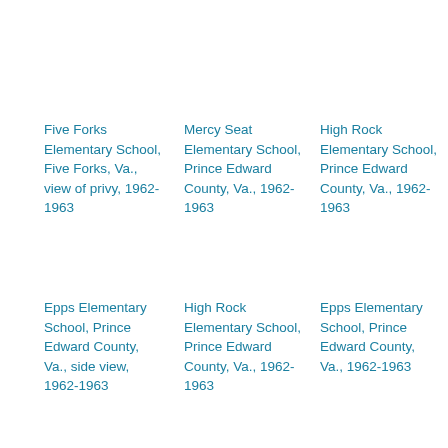Five Forks Elementary School, Five Forks, Va., view of privy, 1962-1963
Mercy Seat Elementary School, Prince Edward County, Va., 1962-1963
High Rock Elementary School, Prince Edward County, Va., 1962-1963
Epps Elementary School, Prince Edward County, Va., side view, 1962-1963
High Rock Elementary School, Prince Edward County, Va., 1962-1963
Epps Elementary School, Prince Edward County, Va., 1962-1963